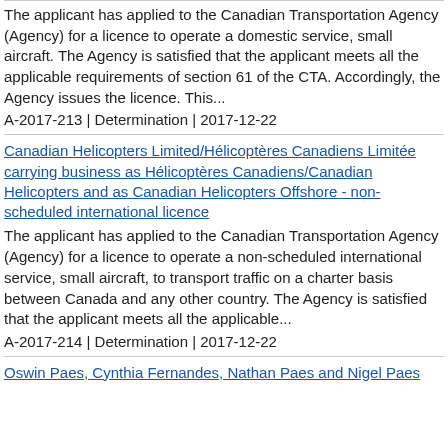The applicant has applied to the Canadian Transportation Agency (Agency) for a licence to operate a domestic service, small aircraft. The Agency is satisfied that the applicant meets all the applicable requirements of section 61 of the CTA. Accordingly, the Agency issues the licence. This...
A-2017-213 | Determination | 2017-12-22
Canadian Helicopters Limited/Hélicoptères Canadiens Limitée carrying business as Hélicoptères Canadiens/Canadian Helicopters and as Canadian Helicopters Offshore - non-scheduled international licence
The applicant has applied to the Canadian Transportation Agency (Agency) for a licence to operate a non-scheduled international service, small aircraft, to transport traffic on a charter basis between Canada and any other country. The Agency is satisfied that the applicant meets all the applicable...
A-2017-214 | Determination | 2017-12-22
Oswin Paes, Cynthia Fernandes, Nathan Paes and Nigel Paes